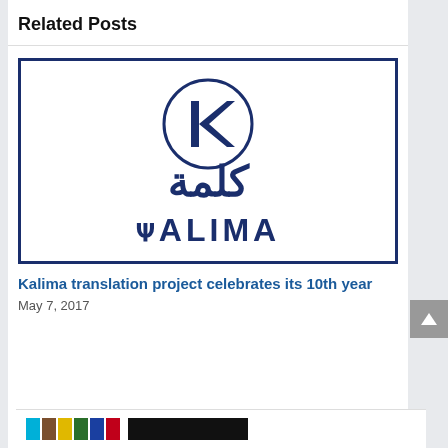Related Posts
[Figure (logo): Kalima logo: a circular emblem with a stylized K letter above Arabic text 'كلمة' and English text 'KALIMA' in dark navy blue on white background with navy border]
Kalima translation project celebrates its 10th year
May 7, 2017
[Figure (illustration): Bottom strip showing colored rectangles (cyan, brown, yellow, dark green, blue, red) followed by a black bar, partially visible at bottom of page]